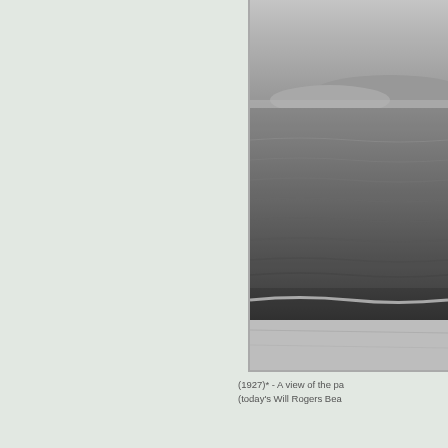[Figure (photo): Black and white historical photograph (1927) showing a view of the Pacific coast beach, today's Will Rogers Beach, with rolling ocean waves and distant hills.]
(1927)* - A view of the pa
(today's Will Rogers Bea